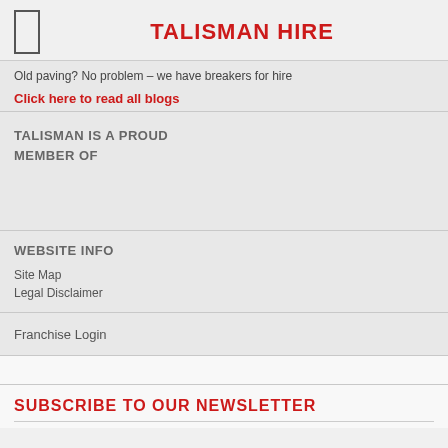TALISMAN HIRE
Old paving? No problem – we have breakers for hire
Click here to read all blogs
TALISMAN IS A PROUD MEMBER OF
WEBSITE INFO
Site Map
Legal Disclaimer
Franchise Login
SUBSCRIBE TO OUR NEWSLETTER